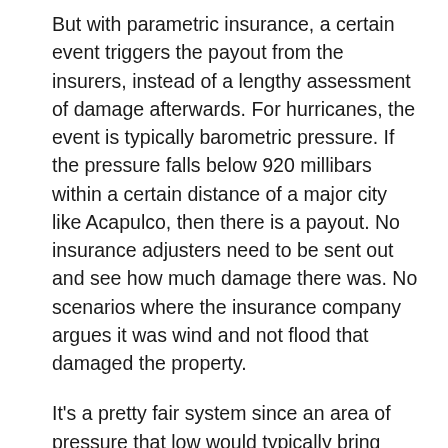But with parametric insurance, a certain event triggers the payout from the insurers, instead of a lengthy assessment of damage afterwards. For hurricanes, the event is typically barometric pressure. If the pressure falls below 920 millibars within a certain distance of a major city like Acapulco, then there is a payout. No insurance adjusters need to be sent out and see how much damage there was. No scenarios where the insurance company argues it was wind and not flood that damaged the property.
It's a pretty fair system since an area of pressure that low would typically bring about a lot of damage. But the big thing is the speed of the determination and the speed of the payout. It is not necessarily more money from the insurer (like they'd ever go for that), but a quicker payout. The event happened and no one disputes that so insurers pay. That speed can make a huge difference in